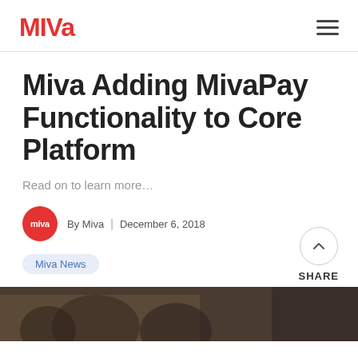Miva
Miva Adding MivaPay Functionality to Core Platform
Read on to learn more…
By Miva | December 6, 2018
Miva News
[Figure (photo): Dark photo of people in background, partially visible at bottom of page]